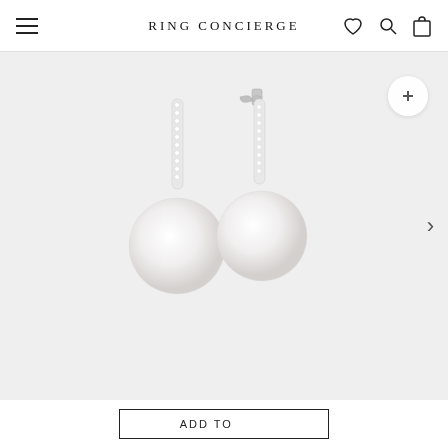RING CONCIERGE
[Figure (photo): Pearl drop earrings with diamond pave bar, shown in front and side view on white background. Each earring features a vertical bar set with small round diamonds attached to a round white pearl drop.]
ADD TO ...